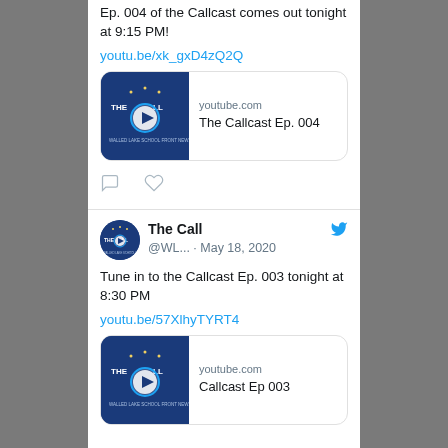Ep. 004 of the Callcast comes out tonight at 9:15 PM!
youtu.be/xk_gxD4zQ2Q
[Figure (screenshot): YouTube link card for 'The Callcast Ep. 004' showing youtube.com domain and The Call logo with play button]
[Figure (screenshot): Twitter action icons: comment bubble and heart]
The Call @WL... · May 18, 2020
Tune in to the Callcast Ep. 003 tonight at 8:30 PM
youtu.be/57XlhyTYRT4
[Figure (screenshot): YouTube link card for 'Callcast Ep 003' showing youtube.com domain and The Call logo with play button]